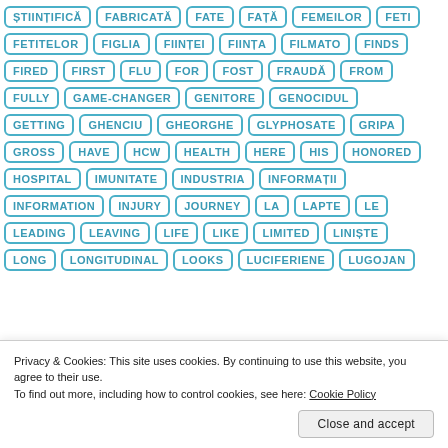ȘTIINȚIFICĂ
FABRICATĂ
FATE
FAȚĂ
FEMEILOR
FETI
FETITELOR
FIGLIA
FIINȚEI
FIINȚA
FILMATO
FINDS
FIRED
FIRST
FLU
FOR
FOST
FRAUDĂ
FROM
FULLY
GAME-CHANGER
GENITORE
GENOCIDUL
GETTING
GHENCIU
GHEORGHE
GLYPHOSATE
GRIPA
GROSS
HAVE
HCW
HEALTH
HERE
HIS
HONORED
HOSPITAL
IMUNITATE
INDUSTRIA
INFORMAȚII
INFORMATION
INJURY
JOURNEY
LA
LAPTE
LE
LEADING
LEAVING
LIFE
LIKE
LIMITED
LINIȘTE
LONG
LONGITUDINAL
LOOKS
LUCIFERIENE
LUGOJAN
Privacy & Cookies: This site uses cookies. By continuing to use this website, you agree to their use.
To find out more, including how to control cookies, see here: Cookie Policy
Close and accept